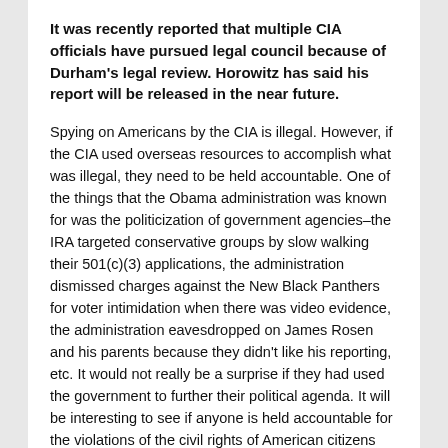It was recently reported that multiple CIA officials have pursued legal council because of Durham's legal review. Horowitz has said his report will be released in the near future.
Spying on Americans by the CIA is illegal. However, if the CIA used overseas resources to accomplish what was illegal, they need to be held accountable. One of the things that the Obama administration was known for was the politicization of government agencies–the IRA targeted conservative groups by slow walking their 501(c)(3) applications, the administration dismissed charges against the New Black Panthers for voter intimidation when there was video evidence, the administration eavesdropped on James Rosen and his parents because they didn't like his reporting, etc. It would not really be a surprise if they had used the government to further their political agenda. It will be interesting to see if anyone is held accountable for the violations of the civil rights of American citizens that occurred during the Obama administration.